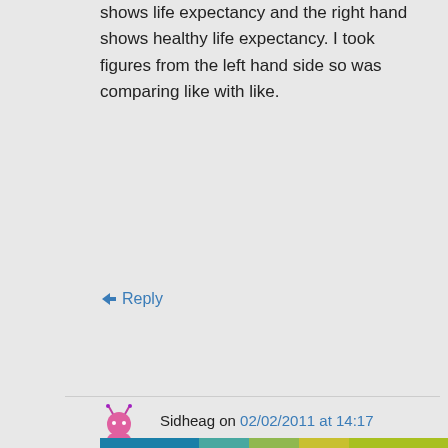shows life expectancy and the right hand shows healthy life expectancy. I took figures from the left hand side so was comparing like with like.
↳ Reply
Sidheag on 02/02/2011 at 14:17
So you did, sorry.
Privacy & Cookies: This site uses cookies. By continuing to use this website, you agree to their use.
To find out more, including how to control cookies, see here: Cookie Policy
Close and accept